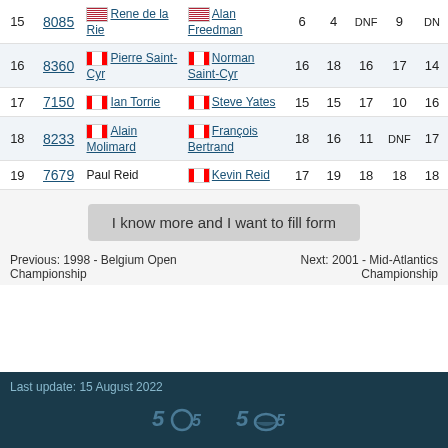| # | Sail | Helm | Crew | R1 | R2 | R3 | R4 | R5 |
| --- | --- | --- | --- | --- | --- | --- | --- | --- |
| 15 | 8085 | 🇺🇸 Rene de la Rie | 🇺🇸 Alan Freedman | 6 | 4 | DNF | 9 | DN |
| 16 | 8360 | 🇨🇦 Pierre Saint-Cyr | 🇨🇦 Norman Saint-Cyr | 16 | 18 | 16 | 17 | 14 |
| 17 | 7150 | 🇨🇦 Ian Torrie | 🇨🇦 Steve Yates | 15 | 15 | 17 | 10 | 16 |
| 18 | 8233 | 🇨🇦 Alain Molimard | 🇨🇦 François Bertrand | 18 | 16 | 11 | DNF | 17 |
| 19 | 7679 | Paul Reid | 🇨🇦 Kevin Reid | 17 | 19 | 18 | 18 | 18 |
I know more and I want to fill form
Previous: 1998 - Belgium Open Championship
Next: 2001 - Mid-Atlantics Championship
Last update: 15 August 2022